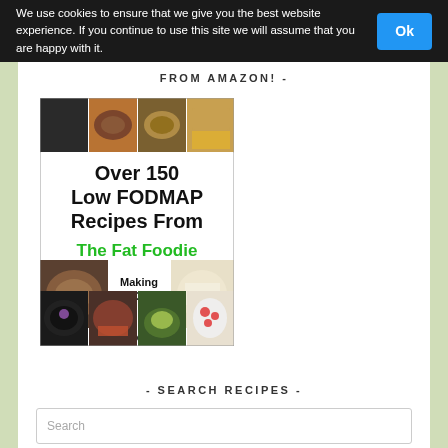We use cookies to ensure that we give you the best website experience. If you continue to use this site we will assume that you are happy with it.  Ok
FROM AMAZON! -
[Figure (illustration): Book cover: 'Over 150 Low FODMAP Recipes From The Fat Foodie – Making Low FODMAP Food Good!' by Jane Cessford. Cover shows food photos arranged in a grid around the title text, with green title text and black body text.]
- SEARCH RECIPES -
Search